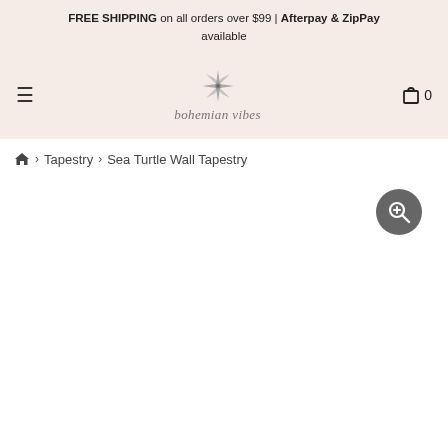FREE SHIPPING on all orders over $99 | Afterpay & ZipPay available
[Figure (logo): Bohemian Vibes logo with compass star icon and cursive text 'bohemian vibes']
Tapestry > Sea Turtle Wall Tapestry
[Figure (other): Zoom/search button (magnifying glass icon) overlay on product image area]